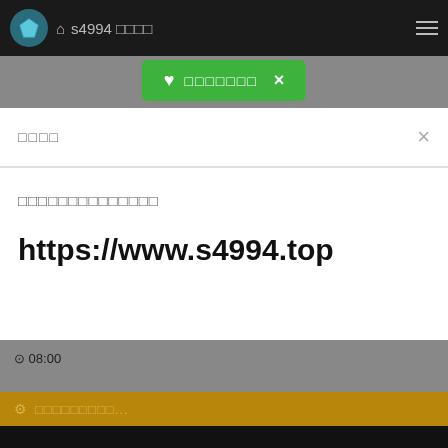s4994 □□□□
□□□□□□□ ×
□□□□
□□□□□□□□□□□□□□
https://www.s4994.top
Amazing bitch featuring a hot foot fetish sex video
⊙ 08:00
□□□□□□□□□...